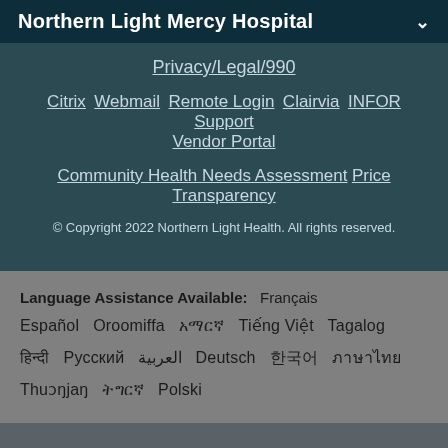Northern Light Mercy Hospital
Privacy/Legal/990
Citrix  Webmail  Remote Login  Clairvia  INFOR  Support  Vendor Portal
Community Health Needs Assessment  Price Transparency
© Copyright 2022 Northern Light Health. All rights reserved.
Language Assistance Available:  Français  Español  Oroomiffa  አማርኛ  Tiếng Việt  Tagalog  हिन्दी  Русский  العربية  Deutsch  한국어  ภาษาไทย  Thuɔŋjaŋ  ትግርኛ  Polski